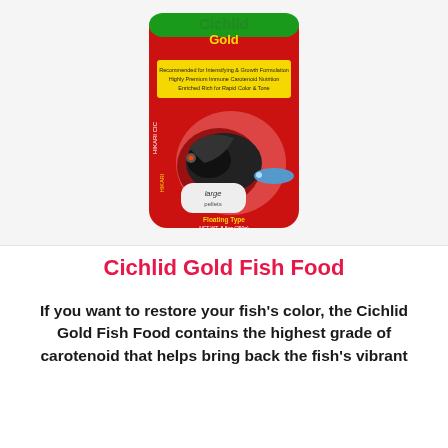[Figure (photo): Hikari Cichlid Gold fish food bag in red packaging with green text, showing large pellets, with cichlid fish images on the bag label.]
Cichlid Gold Fish Food
If you want to restore your fish's color, the Cichlid Gold Fish Food contains the highest grade of carotenoid that helps bring back the fish's vibrant